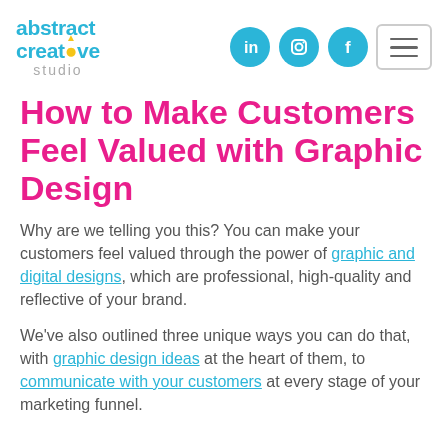[Figure (logo): Abstract Creative Studio logo with teal text and yellow lightbulb accent on the letter i]
[Figure (infographic): LinkedIn, Instagram, and Facebook social media icons as teal circles, plus a hamburger menu button]
How to Make Customers Feel Valued with Graphic Design
Why are we telling you this? You can make your customers feel valued through the power of graphic and digital designs, which are professional, high-quality and reflective of your brand.
We've also outlined three unique ways you can do that, with graphic design ideas at the heart of them, to communicate with your customers at every stage of your marketing funnel.